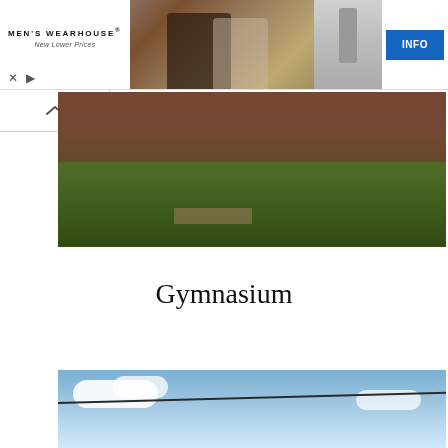[Figure (photo): Men's Wearhouse advertisement banner with couple in formal wear, man in suit, and gray suit display with INFO button]
[Figure (photo): Photograph of a brick building exterior with green shrubbery and steps, partially obscured view]
Gymnasium
[Figure (photo): Photograph of sky with clouds and a wire/cable visible]